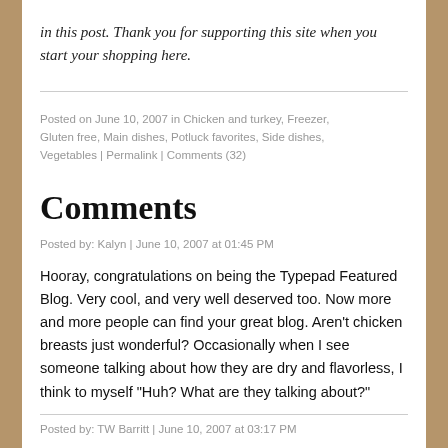in this post. Thank you for supporting this site when you start your shopping here.
Posted on June 10, 2007 in Chicken and turkey, Freezer, Gluten free, Main dishes, Potluck favorites, Side dishes, Vegetables | Permalink | Comments (32)
Comments
Posted by: Kalyn | June 10, 2007 at 01:45 PM
Hooray, congratulations on being the Typepad Featured Blog. Very cool, and very well deserved too. Now more and more people can find your great blog. Aren't chicken breasts just wonderful? Occasionally when I see someone talking about how they are dry and flavorless, I think to myself "Huh? What are they talking about?"
Posted by: TW Barritt | June 10, 2007 at 03:17 PM